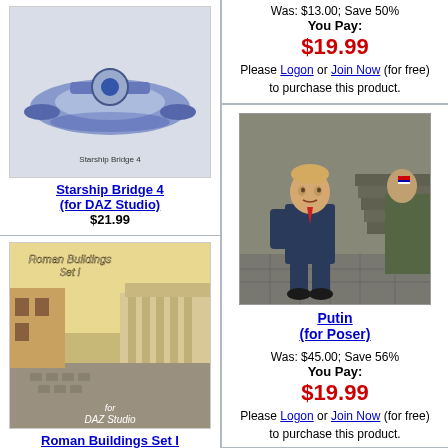[Figure (illustration): 3D render of a blue/silver starship bridge model]
Starship Bridge 4 (for DAZ Studio)
$21.99
[Figure (illustration): Roman Buildings Set I for DAZ Studio - image of ancient Roman street scene]
Roman Buildings Set I (for DAZ Studio)
$7.99
[Figure (illustration): Partial product image, blue/grey tones]
Was: $13.00; Save 50%
You Pay:
$19.99
Please Logon or Join Now (for free) to purchase this product.
[Figure (illustration): Putin character figure for Poser - caricature walking scene]
Putin (for Poser)
Was: $45.00; Save 56%
You Pay:
$19.99
Please Logon or Join Now (for free) to purchase this product.
[Page 1] [Page 2] [Page 3] [Page 4] [Page 5] [Pa... [Page 17] [Page 18] [Page 19] [Page 20] [Page 2... [Page 32] [Page 33] [Page 34] [Page 35] [Page 3... [Page 47] [Page 48] [Page 49] [Page 50] [Page 5... [Page 62] [Page 63] [Page 64] [Page 65] [Page 6... [Page 77] [Page 78] [Page 79] [Page 80] [Page 8...